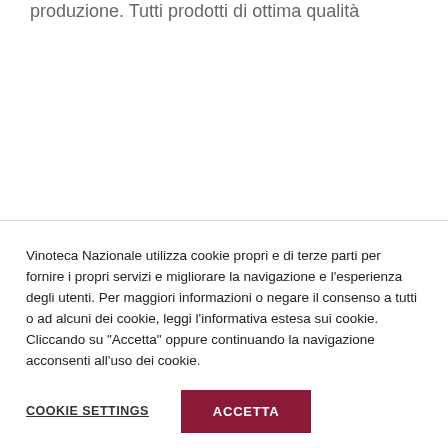produzione. Tutti prodotti di ottima qualità
Vinoteca Nazionale utilizza cookie propri e di terze parti per fornire i propri servizi e migliorare la navigazione e l'esperienza degli utenti. Per maggiori informazioni o negare il consenso a tutti o ad alcuni dei cookie, leggi l'informativa estesa sui cookie. Cliccando su "Accetta" oppure continuando la navigazione acconsenti all'uso dei cookie.
COOKIE SETTINGS
ACCETTA